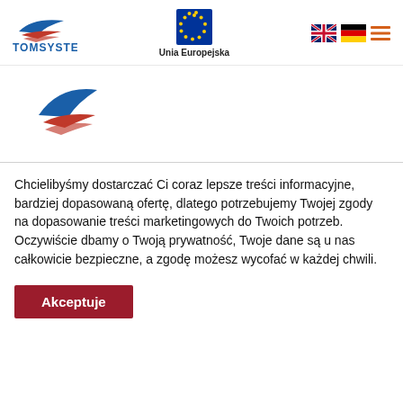[Figure (logo): TOMSYSTEM logo — blue/red wing shape with TOMSYSTEM text in blue]
[Figure (logo): European Union logo — circle of stars on blue background, text 'Unia Europejska' below]
[Figure (logo): UK flag icon, German flag icon, hamburger menu icon (three horizontal orange lines)]
[Figure (logo): TOMSYSTEM wing logo repeated, larger, in mid-section]
Chcielibyśmy dostarczać Ci coraz lepsze treści informacyjne, bardziej dopasowaną ofertę, dlatego potrzebujemy Twojej zgody na dopasowanie treści marketingowych do Twoich potrzeb. Oczywiście dbamy o Twoją prywatność, Twoje dane są u nas całkowicie bezpieczne, a zgodę możesz wycofać w każdej chwili.
Akceptuje